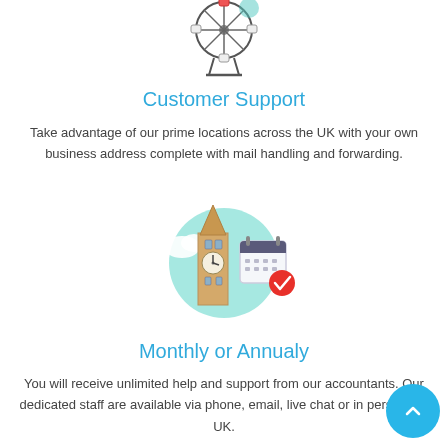[Figure (illustration): Ferris wheel / London Eye icon illustration, partially visible at top of page]
Customer Support
Take advantage of our prime locations across the UK with your own business address complete with mail handling and forwarding.
[Figure (illustration): Big Ben clock tower with calendar and red checkmark icon illustration]
Monthly or Annualy
You will receive unlimited help and support from our accountants. Our dedicated staff are available via phone, email, live chat or in person.the UK.